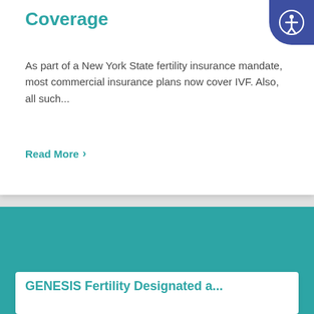Coverage
As part of a New York State fertility insurance mandate, most commercial insurance plans now cover IVF. Also, all such...
Read More >
GENESIS Fertility Designated a...